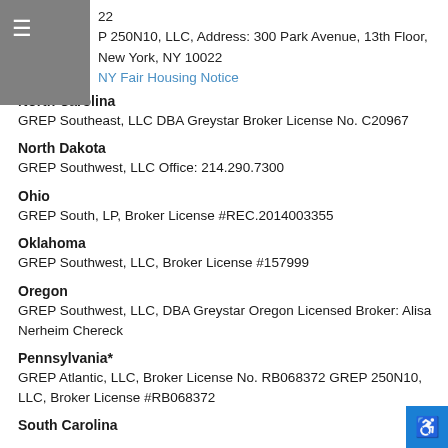22
P 250N10, LLC, Address: 300 Park Avenue, 13th Floor, New York, NY 10022
NY Fair Housing Notice
North Carolina
GREP Southeast, LLC DBA Greystar Broker License No. C20967
North Dakota
GREP Southwest, LLC Office: 214.290.7300
Ohio
GREP South, LP, Broker License #REC.2014003355
Oklahoma
GREP Southwest, LLC, Broker License #157999
Oregon
GREP Southwest, LLC, DBA Greystar Oregon Licensed Broker: Alisa Nerheim Chereck
Pennsylvania*
GREP Atlantic, LLC, Broker License No. RB068372 GREP 250N10, LLC, Broker License #RB068372
South Carolina